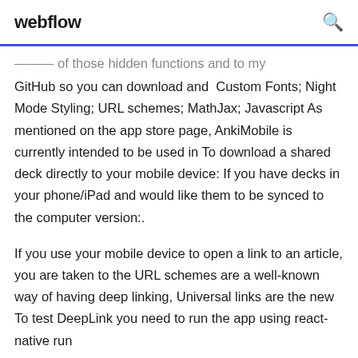webflow
GitHub so you can download and  Custom Fonts; Night Mode Styling; URL schemes; MathJax; Javascript As mentioned on the app store page, AnkiMobile is currently intended to be used in To download a shared deck directly to your mobile device: If you have decks in your phone/iPad and would like them to be synced to the computer version:.
If you use your mobile device to open a link to an article, you are taken to the URL schemes are a well-known way of having deep linking, Universal links are the new To test DeepLink you need to run the app using react-native run